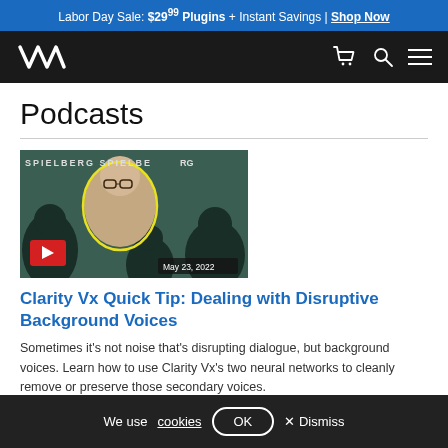Labor Day Sale: $29.99 Plugins + Instant Savings | Shop Now
[Figure (logo): Waves audio logo (stylized W) and navigation icons on dark header bar]
Podcasts
[Figure (photo): Video thumbnail showing Steven Spielberg at a press backdrop with silhouettes, red play button, date badge May 23, 2022]
Clarity Vx Quick Tip: Dealing with Disruptive Background Voices
Sometimes it's not noise that's disrupting dialogue, but background voices. Learn how to use Clarity Vx's two neural networks to cleanly remove or preserve those secondary voices.